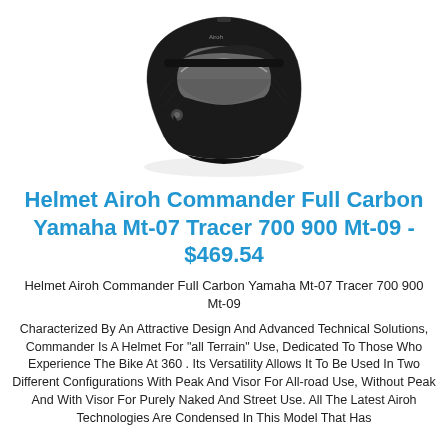[Figure (photo): Black Airoh Commander Full Carbon motorcycle helmet, shown in profile view with visor and peak, floating on white background]
Helmet Airoh Commander Full Carbon Yamaha Mt-07 Tracer 700 900 Mt-09 - $469.54
Helmet Airoh Commander Full Carbon Yamaha Mt-07 Tracer 700 900 Mt-09
Characterized By An Attractive Design And Advanced Technical Solutions, Commander Is A Helmet For "all Terrain" Use, Dedicated To Those Who Experience The Bike At 360 . Its Versatility Allows It To Be Used In Two Different Configurations With Peak And Visor For All-road Use, Without Peak And With Visor For Purely Naked And Street Use. All The Latest Airoh Technologies Are Condensed In This Model That Has